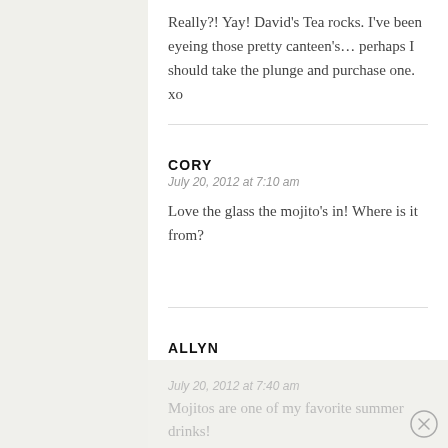Really?! Yay! David's Tea rocks. I've been eyeing those pretty canteen's… perhaps I should take the plunge and purchase one. xo
CORY
July 20, 2012 at 7:10 am
Love the glass the mojito's in! Where is it from?
ALLYN
July 20, 2012 at 7:40 am
Mojitos are one of my favorite summer drinks!